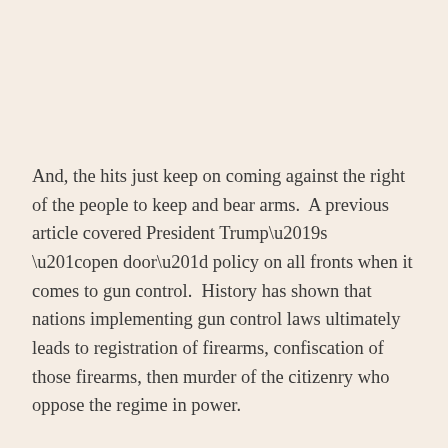And, the hits just keep on coming against the right of the people to keep and bear arms.  A previous article covered President Trump’s “open door” policy on all fronts when it comes to gun control.  History has shown that nations implementing gun control laws ultimately leads to registration of firearms, confiscation of those firearms, then murder of the citizenry who oppose the regime in power.